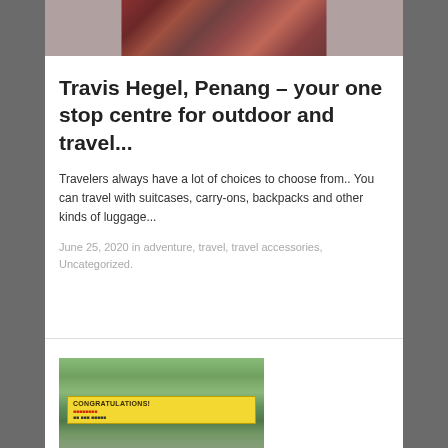[Figure (photo): Top portion of a photo showing luggage/backpacks, partially cropped at the top of the page]
Travis Hegel, Penang – your one stop centre for outdoor and travel...
Travelers always have a lot of choices to choose from.. You can travel with suitcases, carry-ons, backpacks and other kinds of luggage...
June 25, 2020 in adventure, travel, travel accessories, Uncategorized.
[Figure (photo): Photo of people outdoors with a Congratulations banner, mountain/forest background, partially cropped at bottom of page]